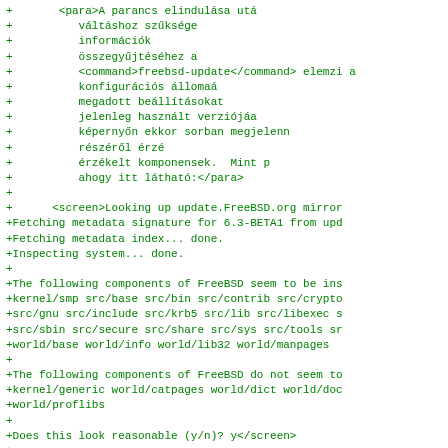Diff/patch content showing FreeBSD update tool XML documentation and screen output with freebsd-update command results